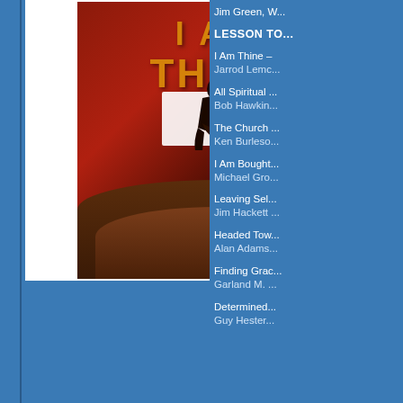[Figure (photo): Book cover for 'I AM THINE' showing a silhouette of a person kneeling in prayer, held in cupped hands, against a dark red/brown background]
Jim Green, W...
LESSON TO...
I Am Thine –
Jarrod Lemc...
All Spiritual ...
Bob Hawkin...
The Church ...
Ken Burleso...
I Am Bought...
Michael Gro...
Leaving Sel...
Jim Hackett...
Headed Tow...
Alan Adams...
Finding Grac...
Garland M. ...
Determined...
Guy Hester...